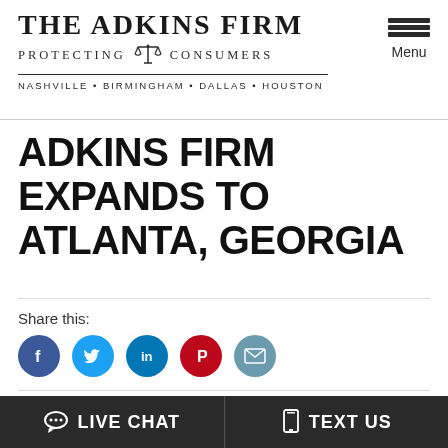THE ADKINS FIRM — PROTECTING CONSUMERS — NASHVILLE • BIRMINGHAM • DALLAS • HOUSTON
ADKINS FIRM EXPANDS TO ATLANTA, GEORGIA
Share this:
[Figure (infographic): Social share icons: Facebook (blue), Twitter (light blue), LinkedIn (dark blue), Pinterest (red), Email (teal)]
The Adkins Firm is excited to announce the expansion of our law firm into the city of Atlanta,